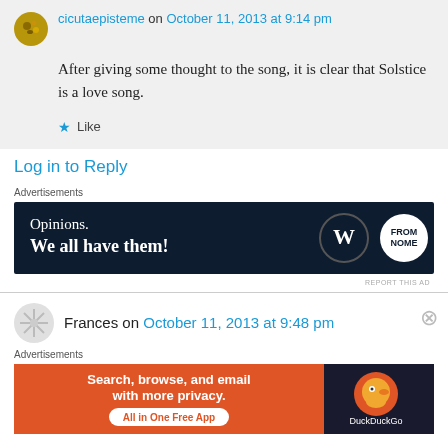cicutaepisteme on October 11, 2013 at 9:14 pm
After giving some thought to the song, it is clear that Solstice is a love song.
Like
Log in to Reply
Advertisements
[Figure (screenshot): WordPress advertisement banner: 'Opinions. We all have them!' with WordPress and blog logo on dark navy background]
REPORT THIS AD
Frances on October 11, 2013 at 9:48 pm
Advertisements
[Figure (screenshot): DuckDuckGo advertisement banner: 'Search, browse, and email with more privacy. All in One Free App' on orange background with DuckDuckGo logo on dark background]